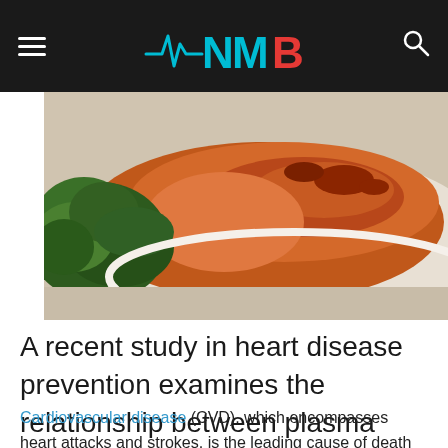NMB (logo with heartbeat line)
[Figure (photo): Close-up photo of a grilled salmon fillet with green leafy vegetables on a white plate]
A recent study in heart disease prevention examines the relationship between plasma fatty acid levels and inflammatory biomarkers.
Cardiovascular disease (CVD), which encompasses heart attacks and strokes, is the leading cause of death around the world. To address this significant health issue and the